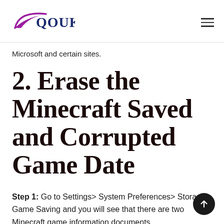QOUK
Microsoft and certain sites.
2. Erase the Minecraft Saved and Corrupted Game Date
Step 1: Go to Settings> System Preferences> Storage> Game Saving and you will see that there are two Minecraft game information documents.